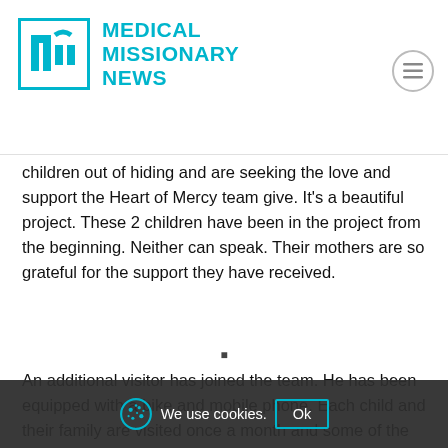Medical Missionary News
children out of hiding and are seeking the love and support the Heart of Mercy team give. It's a beautiful project. These 2 children have been in the project from the beginning. Neither can speak. Their mothers are so grateful for the support they have received.
An additional visitor has joined the team. He has been equipped with a bike and mobile phone. Each child and their family are visited once a month and some of the villages visited are remote. The impact of these visits cannot be put into words but they mean so much.
Collective meetings ha… to be more sustainable/affordable. All parents/guardians met together once a